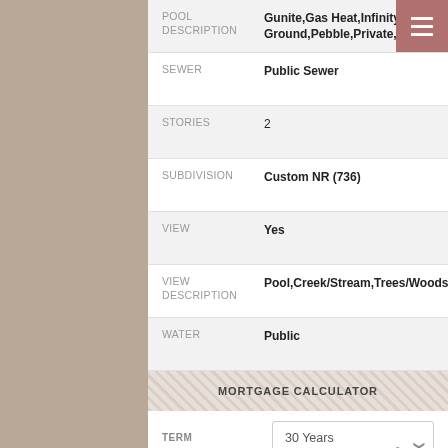| Field | Value |
| --- | --- |
| POOL DESCRIPTION | Gunite,Gas Heat,Infinity,In Ground,Pebble,Private,Waterfall |
| SEWER | Public Sewer |
| STORIES | 2 |
| SUBDIVISION | Custom NR (736) |
| VIEW | Yes |
| VIEW DESCRIPTION | Pool,Creek/Stream,Trees/Woods |
| WATER | Public |
MORTGAGE CALCULATOR
TERM: 30 Years
SELLING PRICE: $3,900,000.00
DOWN PAYMENT: $300,000.00